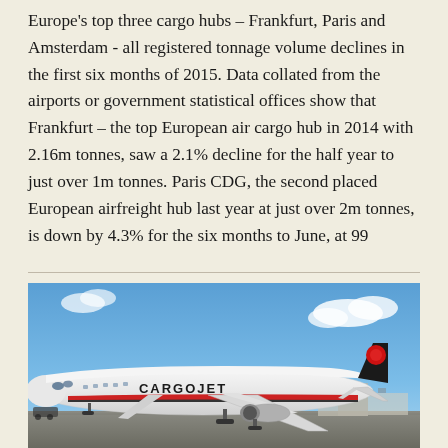Europe's top three cargo hubs – Frankfurt, Paris and Amsterdam - all registered tonnage volume declines in the first six months of 2015. Data collated from the airports or government statistical offices show that Frankfurt – the top European air cargo hub in 2014 with 2.16m tonnes, saw a 2.1% decline for the half year to just over 1m tonnes. Paris CDG, the second placed European airfreight hub last year at just over 2m tonnes, is down by 4.3% for the six months to June, at 99
[Figure (photo): A white Cargojet aircraft parked on an airport tarmac under a blue sky with some clouds. The aircraft has a red stripe along the fuselage and the 'CARGOJET' logo prominently displayed.]